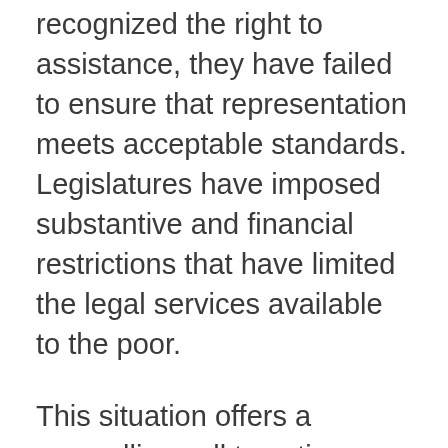recognized the right to assistance, they have failed to ensure that representation meets acceptable standards. Legislatures have imposed substantive and financial restrictions that have limited the legal services available to the poor.
This situation offers a compelling call to action, particularly for large law firms that serve as professional and community leaders.
We must lead the way by contributing much more funding to legal services organizations, and we must be among the